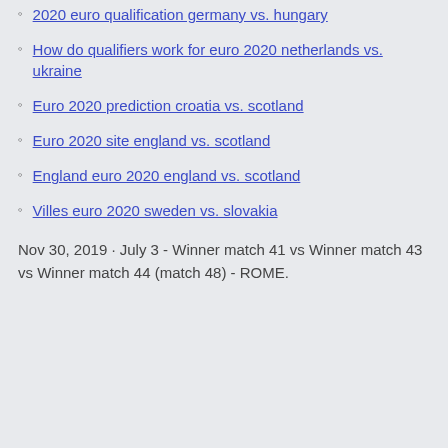2020 euro qualification germany vs. hungary
How do qualifiers work for euro 2020 netherlands vs. ukraine
Euro 2020 prediction croatia vs. scotland
Euro 2020 site england vs. scotland
England euro 2020 england vs. scotland
Villes euro 2020 sweden vs. slovakia
Nov 30, 2019 · July 3 - Winner match 41 vs Winner match 43 vs Winner match 44 (match 48) - ROME.